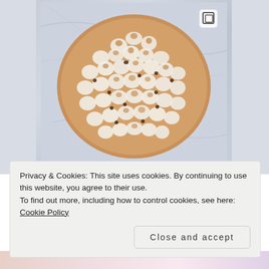[Figure (photo): Top-down photo of a round tart or pie covered with swirled toasted meringue rosettes and dark chocolate chips, placed on a marble surface. A copy/layers icon appears in the top-right corner of the image.]
Privacy & Cookies: This site uses cookies. By continuing to use this website, you agree to their use.
To find out more, including how to control cookies, see here: Cookie Policy
Close and accept